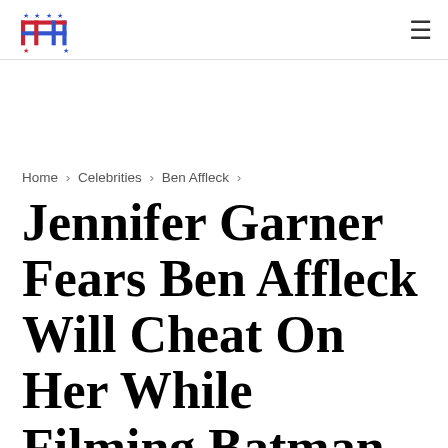HH logo and hamburger menu
Home > Celebrities > Ben Affleck >
Jennifer Garner Fears Ben Affleck Will Cheat On Her While Filming Batman Versus Superman